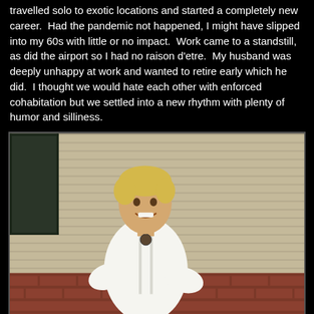travelled solo to exotic locations and started a completely new career.  Had the pandemic not happened, I might have slipped into my 60s with little or no impact.  Work came to a standstill, as did the airport so I had no raison d'etre.  My husband was deeply unhappy at work and wanted to retire early which he did.  I thought we would hate each other with enforced cohabitation but we settled into a new rhythm with plenty of humor and silliness.
[Figure (photo): A woman with short blonde hair wearing a white blouse and blue shorts, sitting on brick steps outside a house with beige siding and a dark window visible on the left. She is smiling and wearing a necklace.]